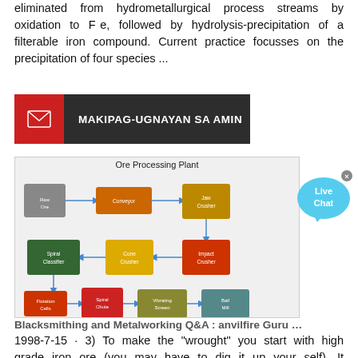eliminated from hydrometallurgical process streams by oxidation to F e, followed by hydrolysis-precipitation of a filterable iron compound. Current practice focusses on the precipitation of four species ...
[Figure (infographic): Dark bar with red icon box on left containing envelope icon and text 'MAKIPAG-UGNAYAN SA AMIN']
[Figure (engineering-diagram): Ore Processing Plant flowchart showing mining/crushing equipment connected by arrows: raw ore, conveyor, jaw crusher, spiral classifier, cone crusher, impact crusher, flotation cells, spiral chute, vibrating screen, ball mill]
Blacksmithing and Metalworking Q&A : anvilfire Guru …
1998-7-15 · 3) To make the "wrought" you start with high grade iron ore (you may have to dig it up your self). It then needs to be roasted and crushed into sand or pea gravel size grains. 4) Ore needs flux. Some ores are self fluxing others are not. You need the chemistry of the ore OR need to run a